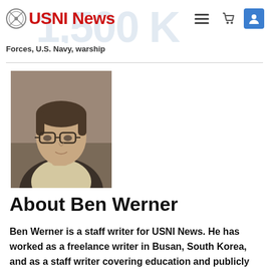USNI News
Forces, U.S. Navy, warship
[Figure (photo): Headshot photo of Ben Werner, a man with glasses and dark hair against a dark background]
About Ben Werner
Ben Werner is a staff writer for USNI News. He has worked as a freelance writer in Busan, South Korea, and as a staff writer covering education and publicly traded companies for The Virginian-Pilot in Norfolk, Va., The State newspaper in Columbia, S.C., Savannah Morning News in Savannah,